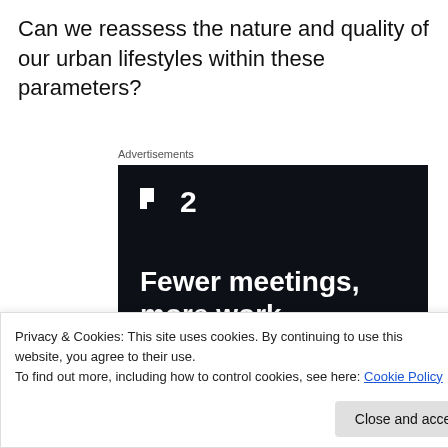Can we reassess the nature and quality of our urban lifestyles within these parameters?
Advertisements
[Figure (screenshot): Advertisement for a productivity/meeting software. Dark navy background with a logo showing two small squares and the number 2, bold white text reading 'Fewer meetings, more work.' and a button 'Get started for free'.]
Privacy & Cookies: This site uses cookies. By continuing to use this website, you agree to their use.
To find out more, including how to control cookies, see here: Cookie Policy
Close and accept